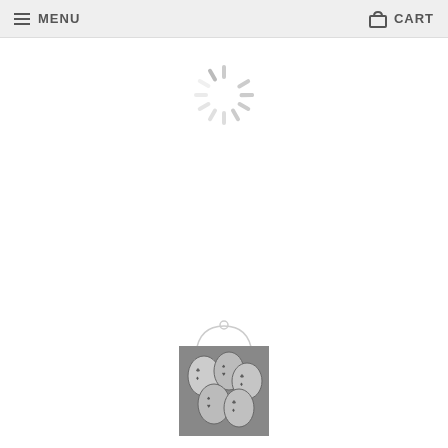MENU   CART
[Figure (illustration): Loading spinner/activity indicator graphic in light gray]
[Figure (illustration): White guitar pick shape outline illustration]
[Figure (photo): Small thumbnail photo of multiple guitar picks with printed designs]